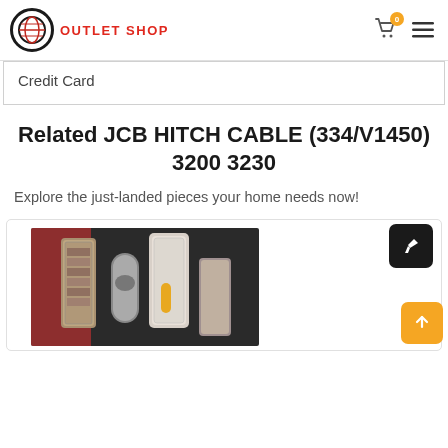OUTLET SHOP
Credit Card
Related JCB HITCH CABLE (334/V1450) 3200 3230
Explore the just-landed pieces your home needs now!
[Figure (photo): Product photo showing several cylindrical metal filters and components on a dark surface with red background, inside a product card with share button.]